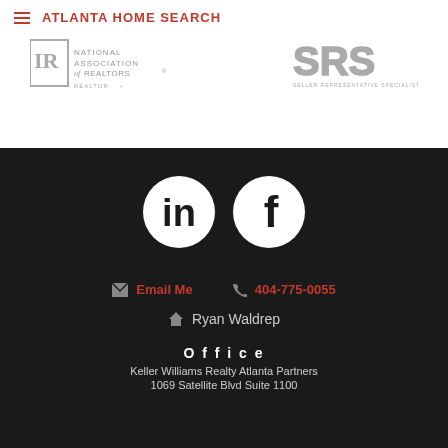ATLANTA HOME SEARCH
[Figure (logo): National Association of Realtors logo (gray)]
[Figure (logo): SRS Seller Representative Specialist logo (gray)]
[Figure (logo): LinkedIn circular icon (white on dark background)]
[Figure (logo): Facebook circular icon (white on dark background)]
Email Me
404-775-0055
Ryan Waldrep
Office
Keller Williams Realty Atlanta Partners
1069 Satellite Blvd Suite 1100